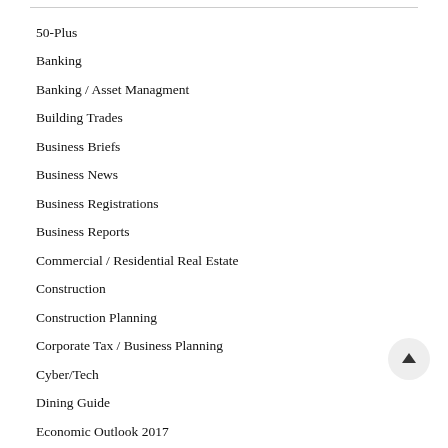50-Plus
Banking
Banking / Asset Managment
Building Trades
Business Briefs
Business News
Business Registrations
Business Reports
Commercial / Residential Real Estate
Construction
Construction Planning
Corporate Tax / Business Planning
Cyber/Tech
Dining Guide
Economic Outlook 2017